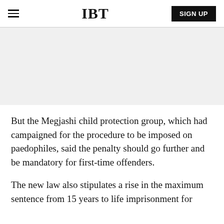IBT | SIGN UP
[Figure (other): Gray advertisement/banner placeholder area]
But the Megjashi child protection group, which had campaigned for the procedure to be imposed on paedophiles, said the penalty should go further and be mandatory for first-time offenders.
The new law also stipulates a rise in the maximum sentence from 15 years to life imprisonment for